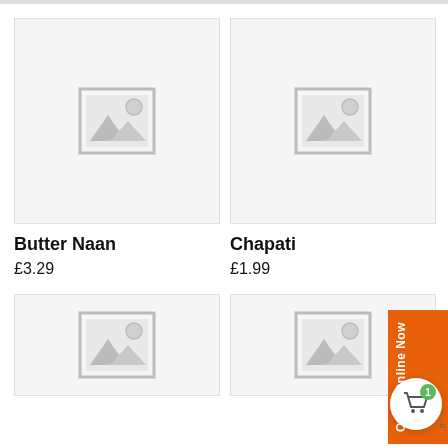[Figure (photo): Placeholder image for Butter Naan product — grey image placeholder icon]
Butter Naan
£3.29
[Figure (photo): Placeholder image for Chapati product — grey image placeholder icon]
Chapati
£1.99
[Figure (photo): Placeholder image for third product — grey image placeholder icon (partially visible)]
[Figure (photo): Placeholder image for fourth product — grey image placeholder icon (partially visible)]